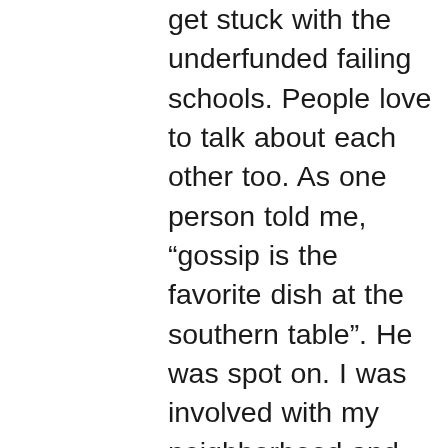get stuck with the underfunded failing schools. People love to talk about each other too. As one person told me, “gossip is the favorite dish at the southern table”. He was spot on. I was involved with my neighborhood and what I found was just how much everything was very subtly controlled by the wealthy class especially the Lookout Mountain aristocracy. The foundations that have done some good is old money from the mountain and therefore tainted in my opinion. Every mayor that comes along promises to make it better for black community saying they will reduce the violence and improve